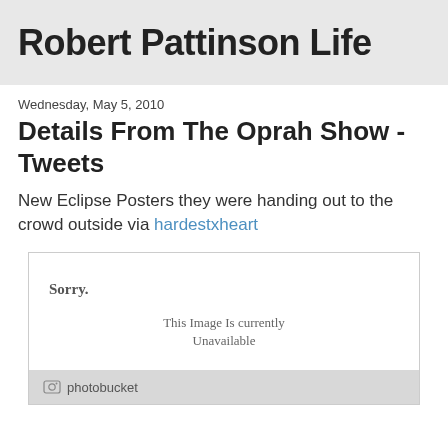Robert Pattinson Life
Wednesday, May 5, 2010
Details From The Oprah Show - Tweets
New Eclipse Posters they were handing out to the crowd outside via hardestxheart
[Figure (photo): Photobucket placeholder image showing 'Sorry. This Image Is Currently Unavailable' with photobucket logo at the bottom]